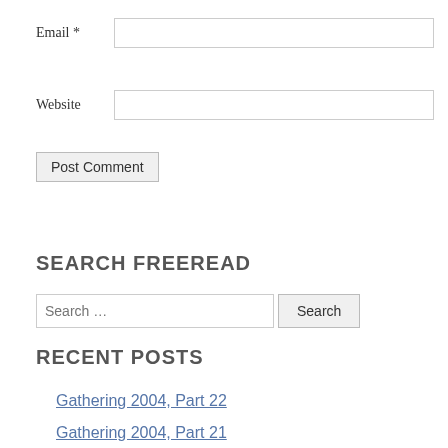Email *
Website
Post Comment
SEARCH FREEREAD
Search …
RECENT POSTS
Gathering 2004, Part 22
Gathering 2004, Part 21